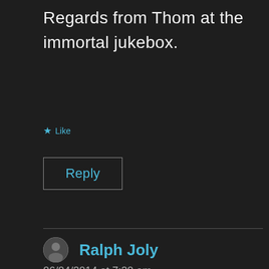Regards from Thom at the immortal jukebox.
★ Like
Reply
Ralph Joly
06/04/2014 at 7:20 am